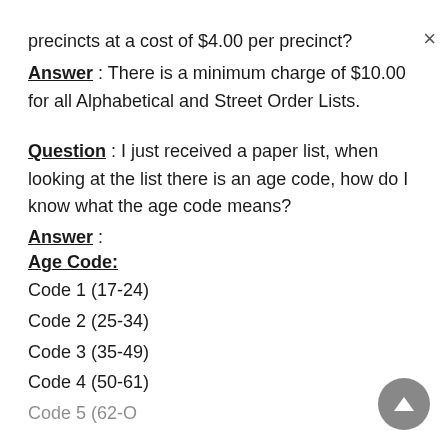precincts at a cost of $4.00 per precinct?
Answer: There is a minimum charge of $10.00 for all Alphabetical and Street Order Lists.
Question: I just received a paper list, when looking at the list there is an age code, how do I know what the age code means?
Answer:
Age Code:
Code 1 (17-24)
Code 2 (25-34)
Code 3 (35-49)
Code 4 (50-61)
Code 5 (62-Over)